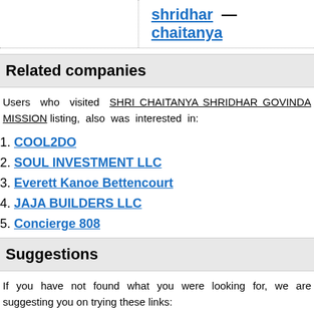shridhar — chaitanya
Related companies
Users who visited SHRI CHAITANYA SHRIDHAR GOVINDA MISSION listing, also was interested in:
COOL2DO
SOUL INVESTMENT LLC
Everett Kanoe Bettencourt
JAJA BUILDERS LLC
Concierge 808
Suggestions
If you have not found what you were looking for, we are suggesting you on trying these links: